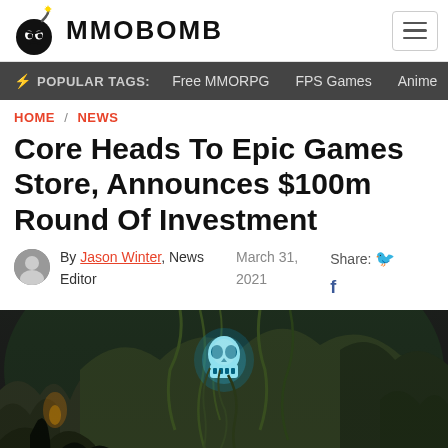MMOBOMB
POPULAR TAGS: Free MMORPG  FPS Games  Anime
HOME / NEWS
Core Heads To Epic Games Store, Announces $100m Round Of Investment
By Jason Winter, News Editor   March 31, 2021   Share:
[Figure (screenshot): Dark fantasy game screenshot showing a cave environment with glowing blue skull floating among rocks, vines, and dramatic lighting.]